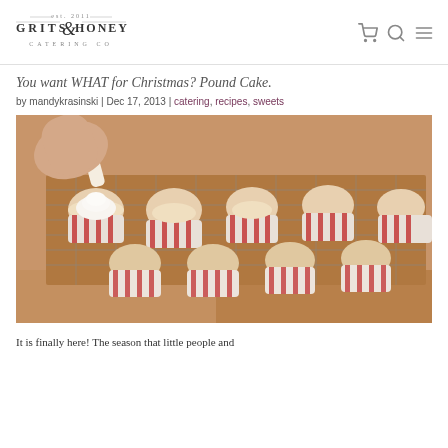[Figure (logo): Grits & Honey Catering Co. logo — stylized text with ampersand flourish, 'est. 2011']
You want WHAT for Christmas? Pound Cake.
by mandykrasinski | Dec 17, 2013 | catering, recipes, sweets
[Figure (photo): Overhead photo of mini pound cakes in red and white striped paper cups on a cooling rack, with a hand piping white frosting onto one of them.]
It is finally here! The season that little people and